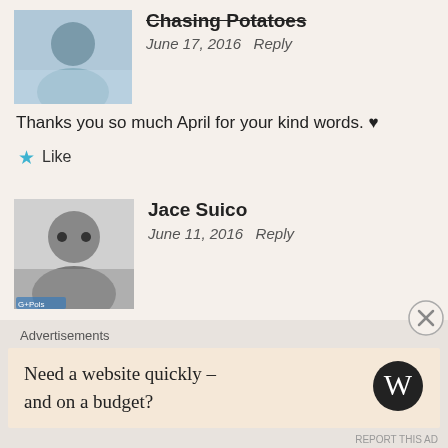Chasing Potatoes
June 17, 2016  Reply
Thanks you so much April for your kind words. ♥
★ Like
Jace Suico
June 11, 2016  Reply
Hmmm.. I think this is where my friends went during their Mountain clean-up .. I wanna climb here someday!

Jace | http://www.laagpamore.net
★ Liked by 2 people
Advertisements
Need a website quickly – and on a budget?